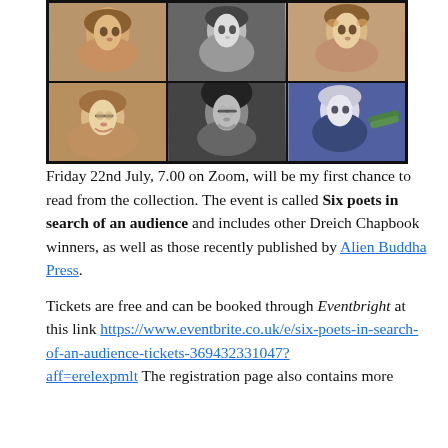[Figure (photo): A 2x3 grid of portrait photos of six poets, top row in color and black-and-white, bottom row showing a woman with glasses laughing, a woman with dark hair and glasses smiling, and an older man holding a green vegetable.]
Friday 22nd July, 7.00 on Zoom, will be my first chance to read from the collection. The event is called Six poets in search of an audience and includes other Dreich Chapbook winners, as well as those recently published by Alien Buddha Press.
Tickets are free and can be booked through Eventbright at this link https://www.eventbrite.co.uk/e/six-poets-in-search-of-an-audience-tickets-369432331047?aff=erelexpmlt The registration page also contains more